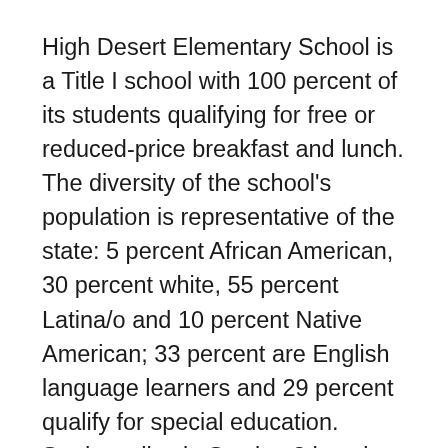High Desert Elementary School is a Title I school with 100 percent of its students qualifying for free or reduced-price breakfast and lunch. The diversity of the school's population is representative of the state: 5 percent African American, 30 percent white, 55 percent Latina/o and 10 percent Native American; 33 percent are English language learners and 29 percent qualify for special education. Students live in Section 8 housing, in motels along the interstate, and in homes close to the local university. Throughout their teaching careers at the school, Michelle and Amanda have noticed a decline in diversity